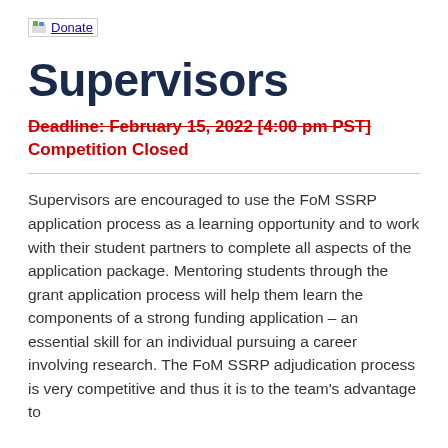[Figure (logo): Donate link with image icon]
Supervisors
Deadline: February 15, 2022 [4:00 pm PST] Competition Closed
Supervisors are encouraged to use the FoM SSRP application process as a learning opportunity and to work with their student partners to complete all aspects of the application package. Mentoring students through the grant application process will help them learn the components of a strong funding application – an essential skill for an individual pursuing a career involving research. The FoM SSRP adjudication process is very competitive and thus it is to the team's advantage to